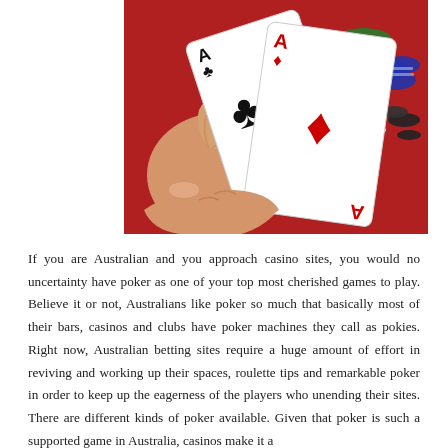[Figure (photo): A hand holding two playing cards (Ace of clubs and Ace of diamonds) against a red background covered with colorful casino poker chips.]
If you are Australian and you approach casino sites, you would no uncertainty have poker as one of your top most cherished games to play. Believe it or not, Australians like poker so much that basically most of their bars, casinos and clubs have poker machines they call as pokies. Right now, Australian betting sites require a huge amount of effort in reviving and working up their spaces, roulette tips and remarkable poker in order to keep up the eagerness of the players who unending their sites. There are different kinds of poker available. Given that poker is such a supported game in Australia, casinos make it a